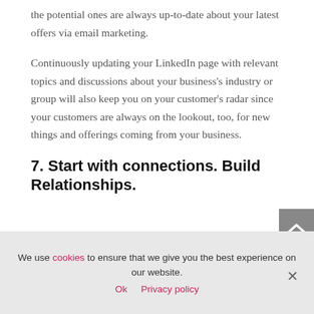the potential ones are always up-to-date about your latest offers via email marketing.
Continuously updating your LinkedIn page with relevant topics and discussions about your business's industry or group will also keep you on your customer's radar since your customers are always on the lookout, too, for new things and offerings coming from your business.
7. Start with connections. Build Relationships.
We use cookies to ensure that we give you the best experience on our website.
Ok  Privacy policy